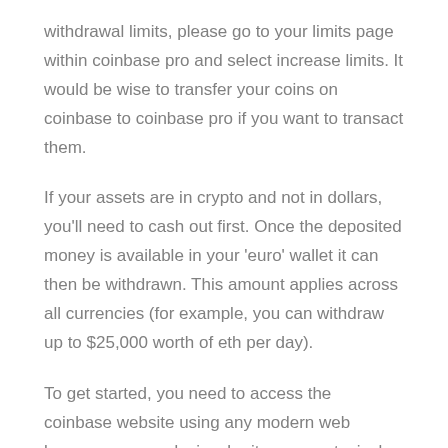withdrawal limits, please go to your limits page within coinbase pro and select increase limits. It would be wise to transfer your coins on coinbase to coinbase pro if you want to transact them.
If your assets are in crypto and not in dollars, you'll need to cash out first. Once the deposited money is available in your 'euro' wallet it can then be withdrawn. This amount applies across all currencies (for example, you can withdraw up to $25,000 worth of eth per day).
To get started, you need to access the coinbase website using any modern web browser, on any device, be it a mac, a typical pc, or your smartphone. How to withdraw from binance to coinbase or any other exchange is an effortless task. Follow our steps to withdraw from binance to any exchange.
Assign a nickname to the address But… for a lot of people this is not the case. Select withdraw under wallet balance (a pop up